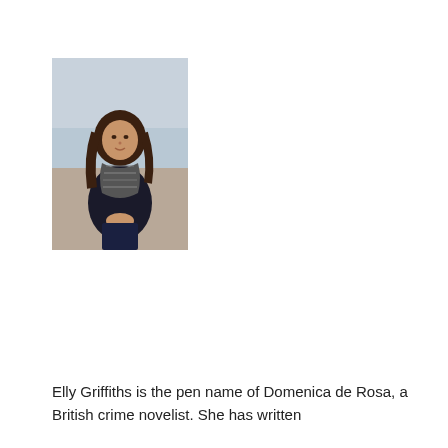[Figure (photo): A woman with long wavy brown hair wearing a dark jacket and patterned scarf, standing on a pebble beach with the sea in the background. She is clasping her hands in front of her.]
Elly Griffiths is the pen name of Domenica de Rosa, a British crime novelist. She has written